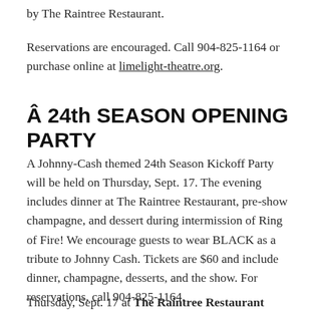by The Raintree Restaurant.
Reservations are encouraged. Call 904-825-1164 or purchase online at limelight-theatre.org.
Â 24th SEASON OPENING PARTY
A Johnny-Cash themed 24th Season Kickoff Party will be held on Thursday, Sept. 17. The evening includes dinner at The Raintree Restaurant, pre-show champagne, and dessert during intermission of Ring of Fire! We encourage guests to wear BLACK as a tribute to Johnny Cash. Tickets are $60 and include dinner, champagne, desserts, and the show. For reservations, call 904-825-1164.
Thursday, Sept. 17 at The Raintree Restaurant